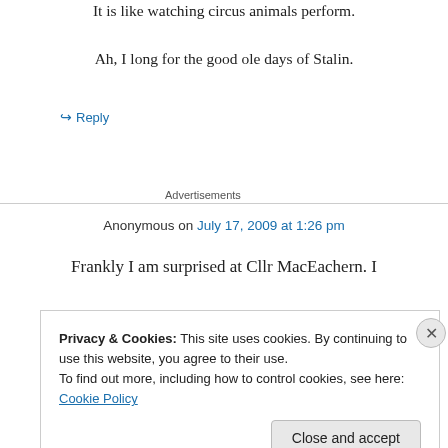It is like watching circus animals perform.
Ah, I long for the good ole days of Stalin.
↳ Reply
Advertisements
Anonymous on July 17, 2009 at 1:26 pm
Frankly I am surprised at Cllr MacEachern. I
Privacy & Cookies: This site uses cookies. By continuing to use this website, you agree to their use.
To find out more, including how to control cookies, see here: Cookie Policy
Close and accept